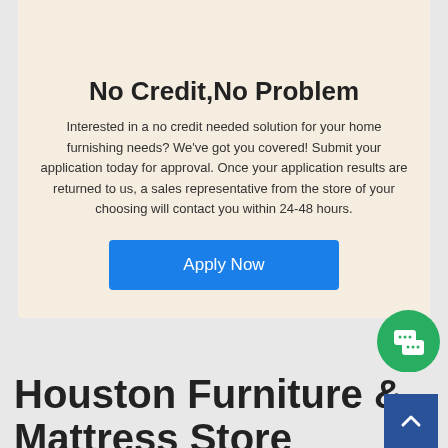[Figure (illustration): Hand holding a credit card, illustration at top of modal]
No Credit,No Problem
Interested in a no credit needed solution for your home furnishing needs? We've got you covered! Submit your application today for approval. Once your application results are returned to us, a sales representative from the store of your choosing will contact you within 24-48 hours.
Apply Now
Houston Furniture & Mattress Store
Exclusive Furniture has seven beautiful locations across Metro Houston to serve you. Spanning over 335,000 square feet of showroom space, you can rest assured our team will help you find